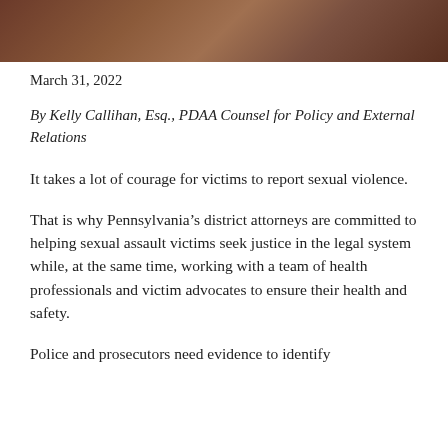[Figure (photo): Dark brown decorative header image banner]
March 31, 2022
By Kelly Callihan, Esq., PDAA Counsel for Policy and External Relations
It takes a lot of courage for victims to report sexual violence.
That is why Pennsylvania’s district attorneys are committed to helping sexual assault victims seek justice in the legal system while, at the same time, working with a team of health professionals and victim advocates to ensure their health and safety.
Police and prosecutors need evidence to identify